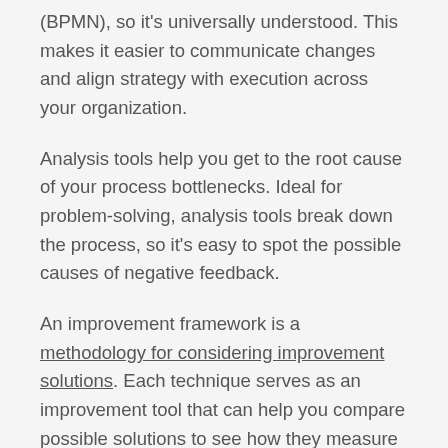(BPMN), so it's universally understood. This makes it easier to communicate changes and align strategy with execution across your organization.
Analysis tools help you get to the root cause of your process bottlenecks. Ideal for problem-solving, analysis tools break down the process, so it's easy to spot the possible causes of negative feedback.
An improvement framework is a methodology for considering improvement solutions. Each technique serves as an improvement tool that can help you compare possible solutions to see how they measure up to your current process performance.
Lastly, automation tools provide an active process improvement solution. BPA tools like frevvo are an